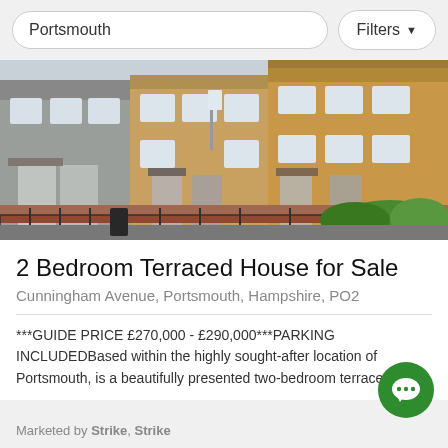Portsmouth | Filters
[Figure (photo): Exterior photo of a row of two-storey terraced houses with brick facade, white-framed windows, iron railings, and green hedges in the foreground.]
2 Bedroom Terraced House for Sale
Cunningham Avenue, Portsmouth, Hampshire, PO2
***GUIDE PRICE £270,000 - £290,000***PARKING INCLUDEDBased within the highly sought-after location of Portsmouth, is a beautifully presented two-bedroom terraced p...
Marketed by Strike, Strike